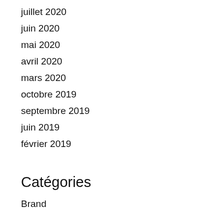juillet 2020
juin 2020
mai 2020
avril 2020
mars 2020
octobre 2019
septembre 2019
juin 2019
février 2019
Catégories
Brand